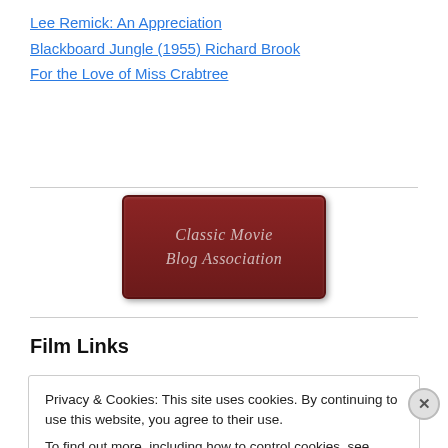Lee Remick: An Appreciation
Blackboard Jungle (1955) Richard Brook
For the Love of Miss Crabtree
[Figure (logo): Classic Movie Blog Association badge — dark red/maroon rounded rectangle with italic serif text reading 'Classic Movie Blog Association']
Film Links
Privacy & Cookies: This site uses cookies. By continuing to use this website, you agree to their use.
To find out more, including how to control cookies, see here: Cookie Policy
Close and accept